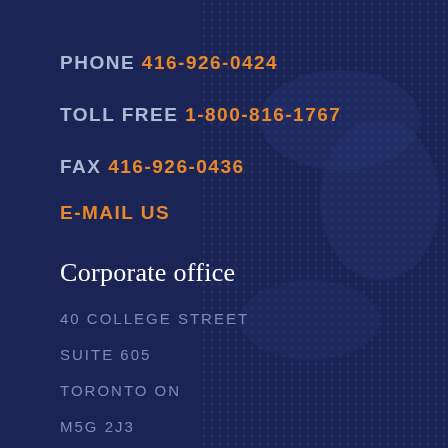PHONE 416-926-0424
TOLL FREE 1-800-816-1767
FAX 416-926-0436
E-MAIL US
Corporate office
40 COLLEGE STREET
SUITE 605
TORONTO ON
M5G 2J3
↑ TOP